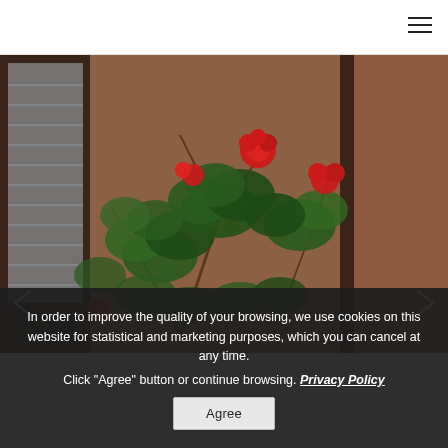[Figure (photo): Close-up photo of red geranium flowers with green leaves, situated near a dark wooden door frame and a terracotta/brown wall. Arrow navigation chevrons visible on left and right edges.]
In order to improve the quality of your browsing, we use cookies on this website for statistical and marketing purposes, which you can cancel at any time.
Click "Agree" button or continue browsing. Privacy Policy
Agree